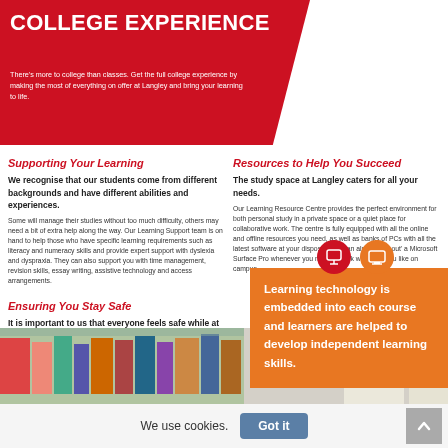COLLEGE EXPERIENCE
There's more to college than classes. Get the full college experience by making the most of everything on offer at Langley and bring your learning to life.
Supporting Your Learning
We recognise that our students come from different backgrounds and have different abilities and experiences.
Some will manage their studies without too much difficulty, others may need a bit of extra help along the way. Our Learning Support team is on hand to help those who have specific learning requirements such as literacy and numeracy skills and provide expert support with dyslexia and dyspraxia. They can also support you with time management, revision skills, essay writing, assistive technology and access arrangements.
Ensuring You Stay Safe
It is important to us that everyone feels safe while at college.
Our Safeguarding team are here to help students make good decisions and can offer a range of advice from digital safety, radicalisation, neglect, to homelessness, mental health and personal safety.
Resources to Help You Succeed
The study space at Langley caters for all your needs.
Our Learning Resource Centre provides the perfect environment for both personal study in a private space or a quiet place for collaborative work. The centre is fully equipped with all the online and offline resources you need, as well as banks of PCs with all the latest software at your disposal. You can also 'check out' a Microsoft Surface Pro whenever you need to work wherever you like on campus.
[Figure (infographic): Orange box with icons and text: Learning technology is embedded into each course and learners are helped to develop independent learning skills.]
[Figure (photo): Photos of library and students in a college setting.]
We use cookies.
Got it